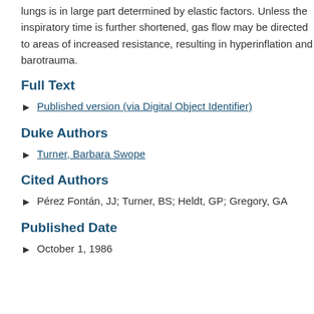lungs is in large part determined by elastic factors. Unless the inspiratory time is further shortened, gas flow may be directed to areas of increased resistance, resulting in hyperinflation and barotrauma.
Full Text
Published version (via Digital Object Identifier)
Duke Authors
Turner, Barbara Swope
Cited Authors
Pérez Fontán, JJ; Turner, BS; Heldt, GP; Gregory, GA
Published Date
October 1, 1986